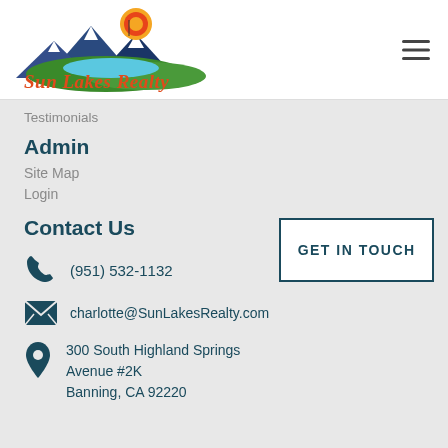[Figure (logo): Sun Lakes Realty logo with mountains, lake, green hills, and orange sun. Script text reads 'Sun Lakes Realty' in red/orange.]
Testimonials
Admin
Site Map
Login
Contact Us
GET IN TOUCH
(951) 532-1132
charlotte@SunLakesRealty.com
300 South Highland Springs Avenue #2K Banning, CA 92220